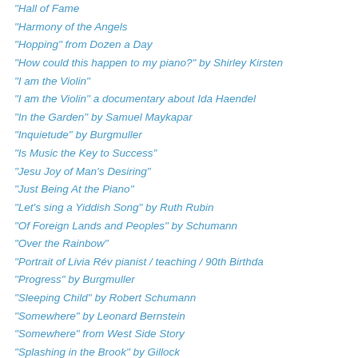"Hall of Fame
"Harmony of the Angels
"Hopping" from Dozen a Day
"How could this happen to my piano?" by Shirley Kirsten
"I am the Violin"
"I am the Violin" a documentary about Ida Haendel
"In the Garden" by Samuel Maykapar
"Inquietude" by Burgmuller
"Is Music the Key to Success"
"Jesu Joy of Man's Desiring"
"Just Being At the Piano"
"Let's sing a Yiddish Song" by Ruth Rubin
"Of Foreign Lands and Peoples" by Schumann
"Over the Rainbow"
"Portrait of Livia Rév pianist / teaching / 90th Birthda
"Progress" by Burgmuller
"Sleeping Child" by Robert Schumann
"Somewhere" by Leonard Bernstein
"Somewhere" from West Side Story
"Splashing in the Brook" by Gillock